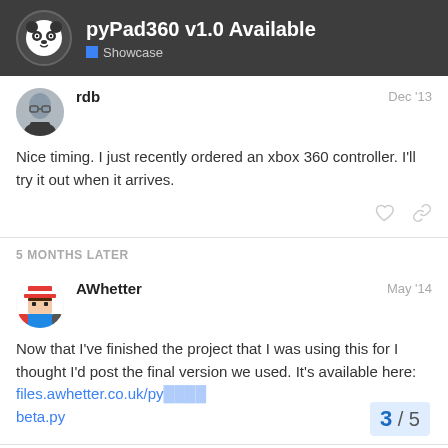pyPad360 v1.0 Available — Showcase
rdb — Dec '13
Nice timing. I just recently ordered an xbox 360 controller. I'll try it out when it arrives.
5 MONTHS LATER
AWhetter — May '14
Now that I've finished the project that I was using this for I thought I'd post the final version we used. It's available here: files.awhetter.co.uk/py...beta.py
3 / 5